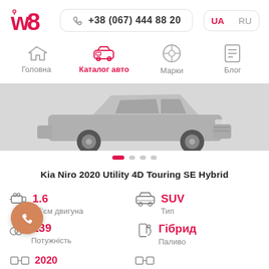w8 | +38 (067) 444 88 20 | UA RU
[Figure (screenshot): Navigation menu with icons: Головна (home), Каталог авто (car, active/pink), Марки (VW logo), Блог (list icon)]
[Figure (photo): Kia Niro 2020 SUV car image, front-side view, gray background]
Kia Niro 2020 Utility 4D Touring SE Hybrid
1.6 — Об'єм двигуна
SUV — Тип
139 — Потужність
Гібрид — Паливо